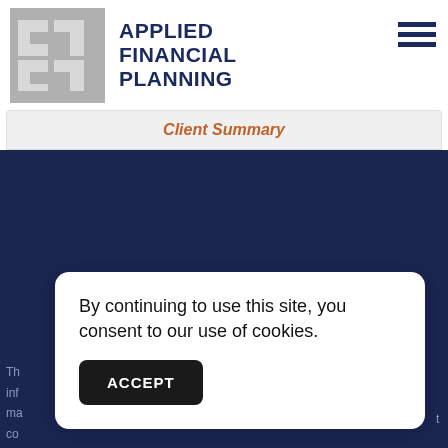APPLIED FINANCIAL PLANNING
Client Summary
By continuing to use this site, you consent to our use of cookies.
ACCEPT
Th... inf... ma... co...